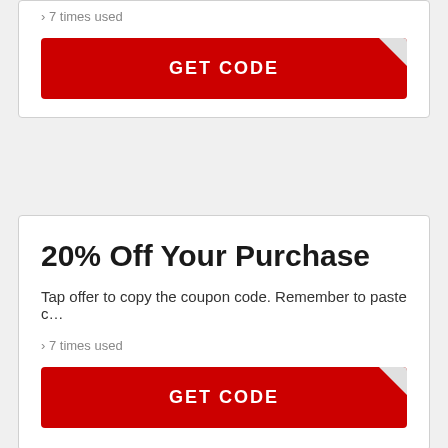› 7 times used
GET CODE
20% Off Your Purchase
Tap offer to copy the coupon code. Remember to paste c…
› 7 times used
GET CODE